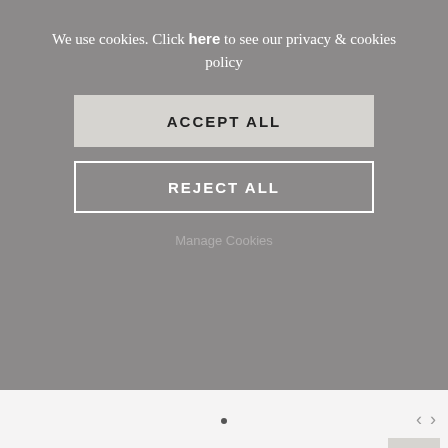We use cookies. Click here to see our privacy & cookies policy
ACCEPT ALL
REJECT ALL
Manage Cookies
[Figure (photo): Fashion photo showing models in white outfits with text 'spotlight on TRAINERS']